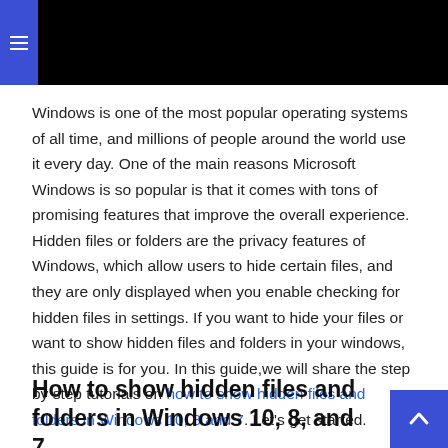[Figure (screenshot): Red gradient banner image at the top of a webpage with a dark/black background]
Windows is one of the most popular operating systems of all time, and millions of people around the world use it every day. One of the main reasons Microsoft Windows is so popular is that it comes with tons of promising features that improve the overall experience. Hidden files or folders are the privacy features of Windows, which allow users to hide certain files, and they are only displayed when you enable checking for hidden files in settings. If you want to hide your files or want to show hidden files and folders in your windows, this guide is for you. In this guide,we will share the step by step tutorials on how to show hidden files and folders in Windows 10, 8 and 7. Let's get started.
How to show hidden files and folders in Windows 10, 8, and 7